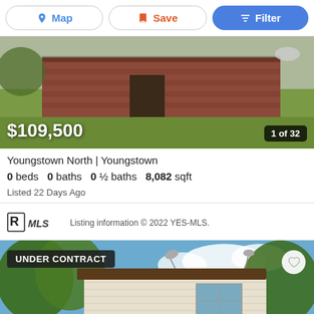Map  Save  Filter
[Figure (photo): Exterior photo of a brick ranch-style home with green lawn and concrete driveway. Price overlay: $109,500. Photo counter: 1 of 32.]
Youngstown North | Youngstown
0 beds  0 baths  0 ½ baths  8,082 sqft
Listed 22 Days Ago
Listing information © 2022 YES-MLS.
[Figure (photo): Exterior photo of a two-story house with vinyl siding, satellite dish, and trees in background. Badge: UNDER CONTRACT.]